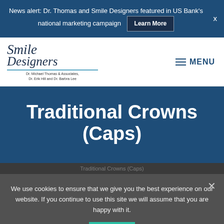News alert: Dr. Thomas and Smile Designers featured in US Bank's national marketing campaign  Learn More  ×
[Figure (logo): Smile Designers logo with cursive script text 'Smile Designers', underline, and subtitle 'Dr. Michael Thomas & Associates, Dr. Erik Hill and Dr. Barbra Lee']
Traditional Crowns (Caps)
Traditional Crowns (Caps)
We use cookies to ensure that we give you the best experience on our website. If you continue to use this site we will assume that you are happy with it.
Ok